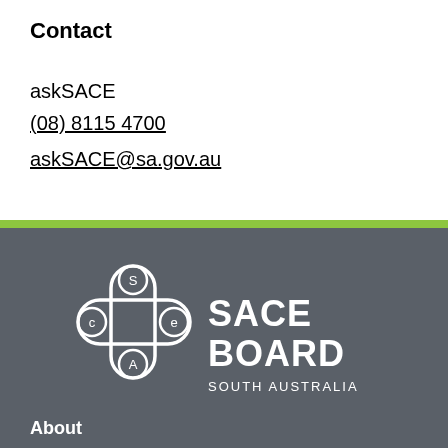Contact
askSACE
(08) 8115 4700
askSACE@sa.gov.au
[Figure (logo): SACE Board of South Australia logo with circular letters S, C, A, E arranged in a cross pattern, followed by text SACE BOARD SOUTH AUSTRALIA]
About